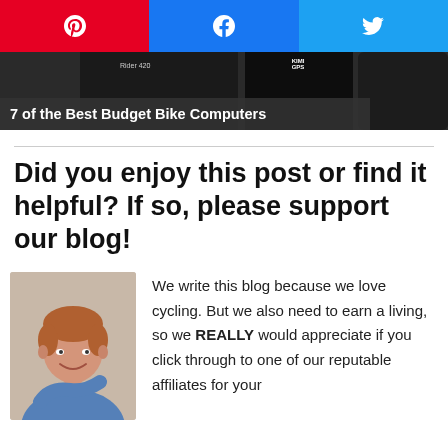[Figure (other): Social share buttons row: Pinterest (red), Facebook (blue), Twitter (light blue)]
[Figure (photo): Banner image showing bike computers with caption: Rider 420 / 7 of the Best Budget Bike Computers]
Did you enjoy this post or find it helpful? If so, please support our blog!
[Figure (photo): Photo of a middle-aged smiling man in a blue shirt]
We write this blog because we love cycling. But we also need to earn a living, so we REALLY would appreciate if you click through to one of our reputable affiliates for your